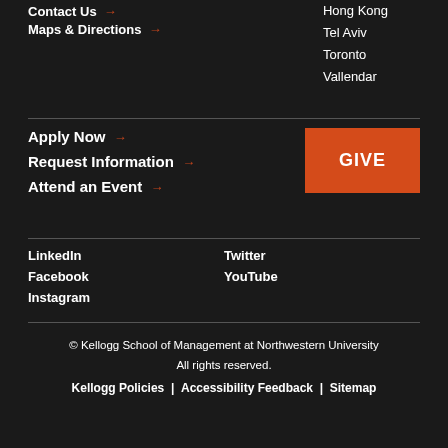Contact Us →
Maps & Directions →
Hong Kong
Tel Aviv
Toronto
Vallendar
Apply Now →
Request Information →
Attend an Event →
GIVE
LinkedIn
Twitter
Facebook
YouTube
Instagram
© Kellogg School of Management at Northwestern University
All rights reserved.
Kellogg Policies | Accessibility Feedback | Sitemap